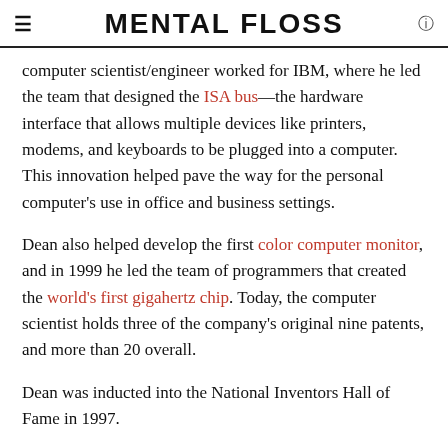MENTAL FLOSS
computer scientist/engineer worked for IBM, where he led the team that designed the ISA bus—the hardware interface that allows multiple devices like printers, modems, and keyboards to be plugged into a computer. This innovation helped pave the way for the personal computer's use in office and business settings.
Dean also helped develop the first color computer monitor, and in 1999 he led the team of programmers that created the world's first gigahertz chip. Today, the computer scientist holds three of the company's original nine patents, and more than 20 overall.
Dean was inducted into the National Inventors Hall of Fame in 1997.
3. Madam C. J. Walker